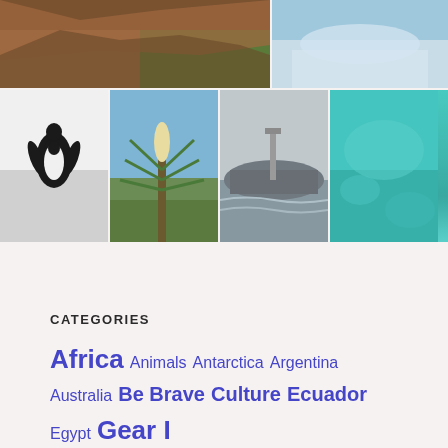[Figure (photo): Top row photo grid: left image shows canyon/red rock landscape with aerial view; right image shows icy/snowy aerial landscape]
[Figure (photo): Bottom row photo grid: penguin on white snow; desert plant/yucca with mountains; rocky coastal scene in black and white; turquoise underwater/ocean scene]
CATEGORIES
Africa Animals Antarctica Argentina Australia Be Brave Culture Ecuador Egypt Gear I Love India Morocco National Parks Oceania Solo travel South Africa South America Travel USA